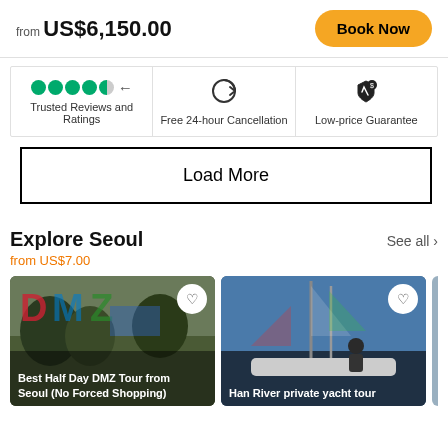from US$6,150.00
Book Now
Trusted Reviews and Ratings
Free 24-hour Cancellation
Low-price Guarantee
Load More
Explore Seoul
from US$7.00
See all ›
[Figure (photo): Best Half Day DMZ Tour from Seoul (No Forced Shopping) card image]
[Figure (photo): Han River private yacht tour card image]